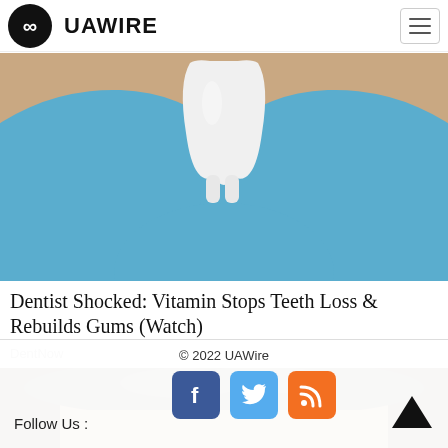UAWIRE
[Figure (photo): Close-up photo of blue latex gloves holding a large white tooth model against a skin-toned background.]
Dentist Shocked: Vitamin Stops Teeth Loss & Rebuilds Gums (Watch)
DentNow
[Figure (photo): Top portion of a man's head showing gray hair and forehead.]
© 2022 UAWire
Follow Us :